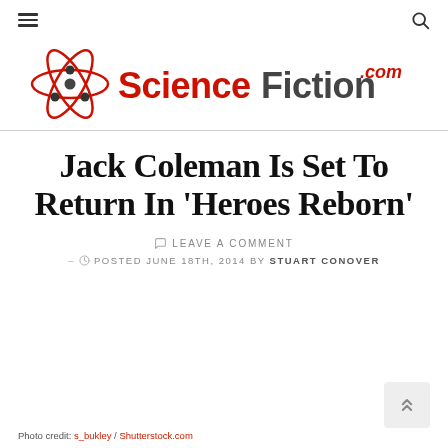ScienceFiction.com — navigation bar with hamburger menu and search icon
[Figure (logo): ScienceFiction.com logo: atomic orbit graphic in red and dark gray with red 'ScienceFiction' text and '.com' in red italic]
Jack Coleman Is Set To Return In 'Heroes Reborn'
LEAVE A COMMENT
POSTED JUNE 18TH, 2014 BY STUART CONOVER
Photo credit: s_bukley / Shutterstock.com